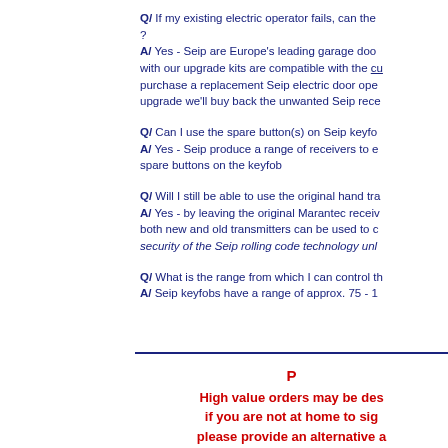Q/ If my existing electric operator fails, can the ? A/ Yes - Seip are Europe's leading garage door with our upgrade kits are compatible with the cu purchase a replacement Seip electric door ope upgrade we'll buy back the unwanted Seip rece
Q/ Can I use the spare button(s) on Seip keyfo A/ Yes - Seip produce a range of receivers to e spare buttons on the keyfob
Q/ Will I still be able to use the original hand tra A/ Yes - by leaving the original Marantec receiv both new and old transmitters can be used to c security of the Seip rolling code technology unl
Q/ What is the range from which I can control th A/ Seip keyfobs have a range of approx. 75 - 1
P High value orders may be des if you are not at home to sig please provide an alternative a